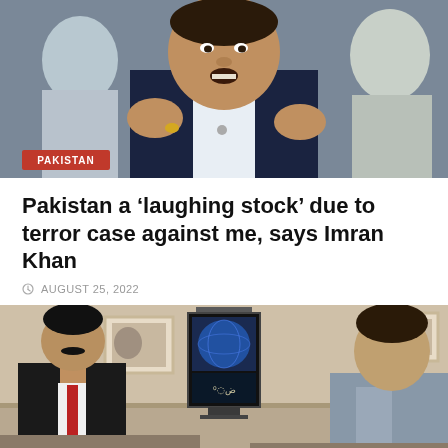[Figure (photo): Man in dark blazer gesturing with hands while speaking to a crowd, with a red 'PAKISTAN' label overlaid in the lower left corner of the image.]
Pakistan a ‘laughing stock’ due to terror case against me, says Imran Khan
AUGUST 25, 2022
[Figure (photo): Two men seated in a room with framed pictures on the wall and a TV screen visible in the background.]